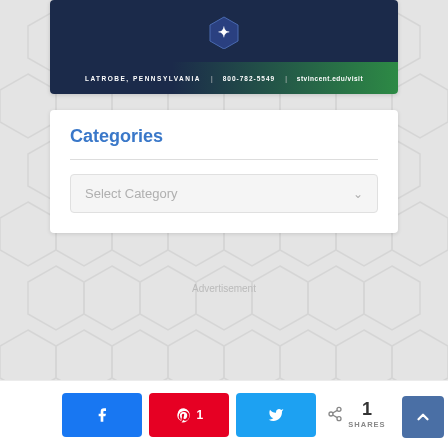[Figure (photo): St. Vincent College advertisement banner showing Latrobe, Pennsylvania | 800-782-5549 | stvincent.edu/visit]
Categories
Select Category
Advertisement
1 SHARES
[Figure (other): Social share buttons: Facebook, Pinterest (1), Twitter, share count 1 SHARES, and back-to-top arrow button]